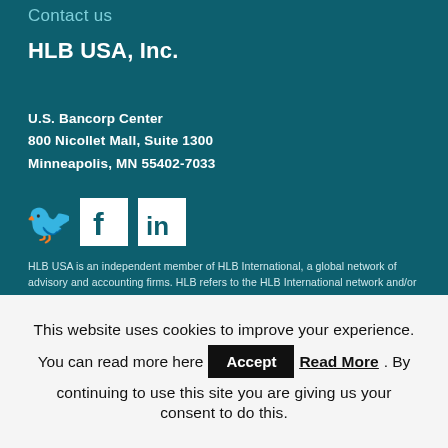Contact us
HLB USA, Inc.
U.S. Bancorp Center
800 Nicollet Mall, Suite 1300
Minneapolis, MN 55402-7033
[Figure (illustration): Social media icons: Twitter bird icon, Facebook F icon in white square, LinkedIn 'in' icon in white square]
HLB USA is an independent member of HLB International, a global network of advisory and accounting firms. HLB refers to the HLB International network and/or one or more of its member firms. For more information, visit HLB International...
This website uses cookies to improve your experience. You can read more here Accept Read More. By continuing to use this site you are giving us your consent to do this.